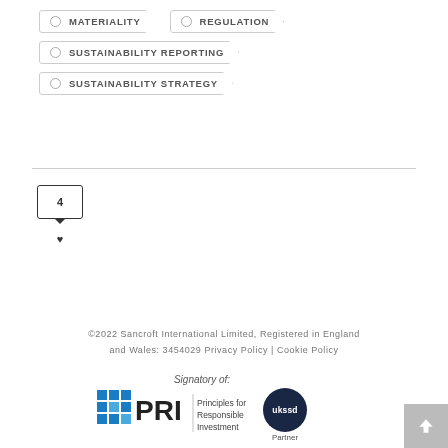MATERIALITY
REGULATION
SUSTAINABILITY REPORTING
SUSTAINABILITY STRATEGY
[Figure (other): Social share/like widget showing number 4 with a heart icon below]
©2022 Sancroft International Limited, Registered in England and Wales: 3454029 Privacy Policy | Cookie Policy
[Figure (logo): Signatory of: PRI - Principles for Responsible Investment logo with blue grid icon]
[Figure (logo): ukssd Partner circular logo in dark navy blue]